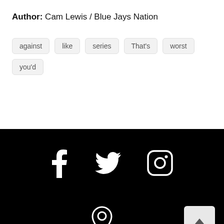Author: Cam Lewis / Blue Jays Nation
against
like
series
That's
worst
you'd
[Figure (infographic): Social media icons: Facebook, Twitter, Instagram on black background]
[Figure (infographic): Map pin / location icon on black background with VISIT text below]
VISIT